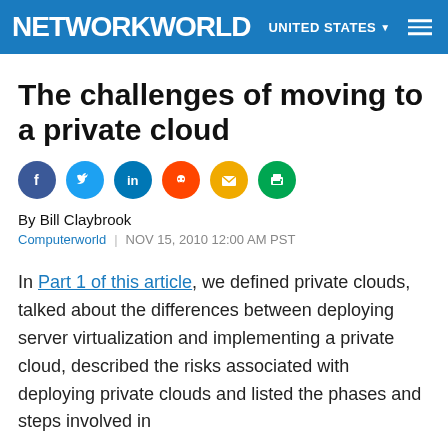NETWORKWORLD  UNITED STATES
The challenges of moving to a private cloud
[Figure (illustration): Social share icons: Facebook, Twitter, LinkedIn, Reddit, Email, Print]
By Bill Claybrook
Computerworld | NOV 15, 2010 12:00 AM PST
In Part 1 of this article, we defined private clouds, talked about the differences between deploying server virtualization and implementing a private cloud, described the risks associated with deploying private clouds and listed the phases and steps involved in